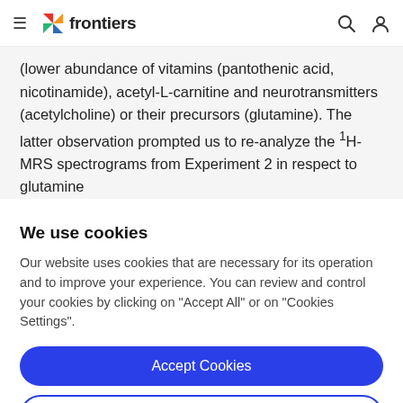frontiers
(lower abundance of vitamins (pantothenic acid, nicotinamide), acetyl-L-carnitine and neurotransmitters (acetylcholine) or their precursors (glutamine). The latter observation prompted us to re-analyze the 1H-MRS spectrograms from Experiment 2 in respect to glutamine
We use cookies
Our website uses cookies that are necessary for its operation and to improve your experience. You can review and control your cookies by clicking on "Accept All" or on "Cookies Settings".
Accept Cookies
Cookies Settings